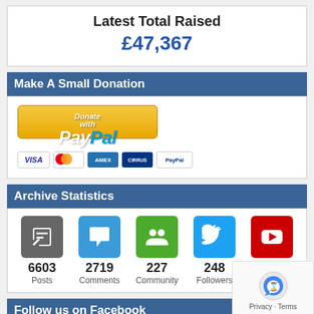Latest Total Raised
£47,367
Make A Small Donation
[Figure (logo): Donate with PayPal button with payment method icons (Visa, Mastercard, Amex, Cirrus, PayPal)]
Archive Statistics
6603 Posts | 2719 Comments | 227 Community | 248 Followers | 445 Subscribers
Follow us on Facebook